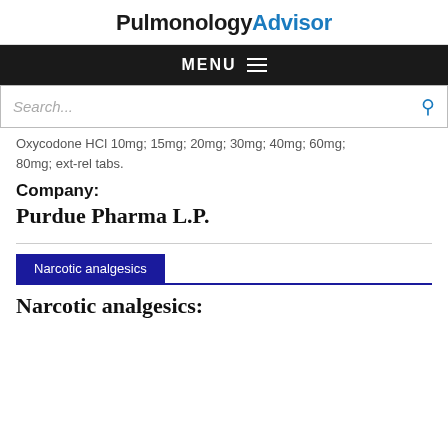PulmonologyAdvisor
MENU
Search...
Oxycodone HCl 10mg; 15mg; 20mg; 30mg; 40mg; 60mg; 80mg; ext-rel tabs.
Company:
Purdue Pharma L.P.
Narcotic analgesics
Narcotic analgesics: